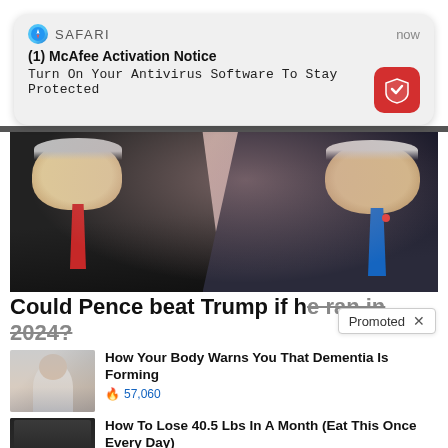[Figure (screenshot): Safari browser push notification: '(1) McAfee Activation Notice - Turn On Your Antivirus Software To Stay Protected' with McAfee red icon]
[Figure (photo): Two men in dark suits facing each other with heads bowed, one wearing a red tie, one wearing a blue tie, against a stage background]
Could Pence beat Trump if he ran in 2024?
Promoted X
[Figure (photo): Person sitting on bed in white clothes, head down]
How Your Body Warns You That Dementia Is Forming
🔥 57,060
[Figure (photo): Woman in black bikini top from behind, before and after weight loss]
How To Lose 40.5 Lbs In A Month (Eat This Once Every Day)
🔥 18,143